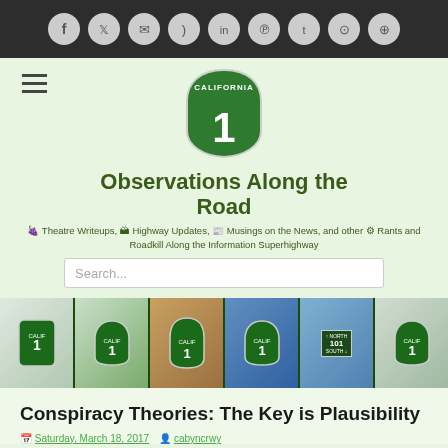[Figure (illustration): Dark gray social media icon bar with circular icons for Facebook, Twitter, email, RSS, LinkedIn, Pinterest, Tumblr, Instagram, and globe/web]
[Figure (logo): California Highway 1 state route shield sign logo — green shield shape with white text 'CALIFORNIA' at top and large '1' in center]
Observations Along the Road
Theatre Writeups, Highway Updates, Musings on the News, and other Rants and Roadkill Along the Information Superhighway
[Figure (illustration): Search input box with placeholder text 'Search...']
[Figure (photo): Dark green banner with six photos of California Highway 1 road signs in various outdoor settings]
Conspiracy Theories: The Key is Plausibility
Saturday, March 18, 2017   cabyncrwy